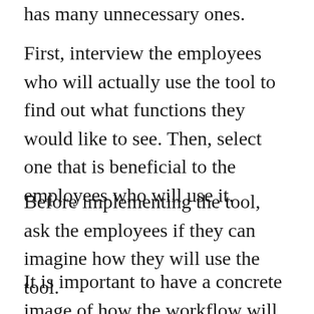has many unnecessary ones.
First, interview the employees who will actually use the tool to find out what functions they would like to see. Then, select one that is beneficial to the employees who will use it.
Before implementing the tool, ask the employees if they can imagine how they will use the tool.
It is important to have a concrete image of how the workflow will change and become more efficient with the introduction of the tool. If possible, choose one that requires as little input from the frontline and allows the